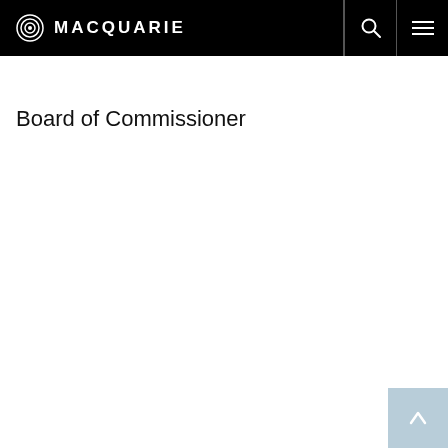MACQUARIE
Board of Commissioner